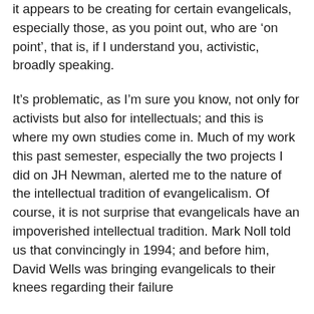it appears to be creating for certain evangelicals, especially those, as you point out, who are 'on point', that is, if I understand you, activistic, broadly speaking.
It's problematic, as I'm sure you know, not only for activists but also for intellectuals; and this is where my own studies come in. Much of my work this past semester, especially the two projects I did on JH Newman, alerted me to the nature of the intellectual tradition of evangelicalism. Of course, it is not surprise that evangelicals have an impoverished intellectual tradition. Mark Noll told us that convincingly in 1994; and before him, David Wells was bringing evangelicals to their knees regarding their failure